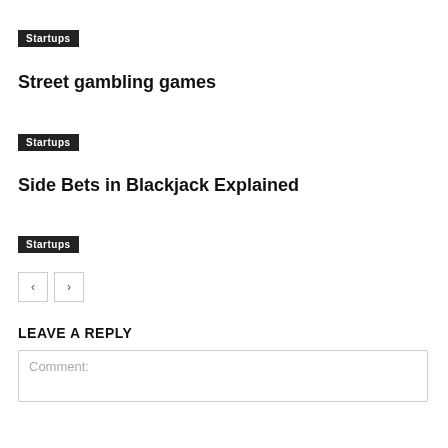Startups
Street gambling games
Startups
Side Bets in Blackjack Explained
Startups
LEAVE A REPLY
Comment: